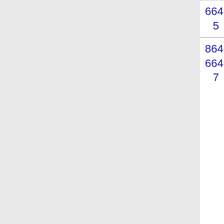| Number | State | Carrier | Code |  |
| --- | --- | --- | --- | --- |
| 864-664-5 | (Inteliquent) |  |  |
| 864-664-7 | SC | ONVOY, LLC - SC (Inteliquent) | 548E |  |
| 864-664- | SC | ONVOY, LLC - SC (Inteliquent) | 548E |  |